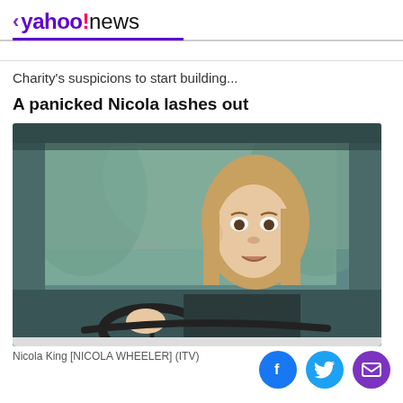< yahoo!news
Charity's suspicions to start building...
A panicked Nicola lashes out
[Figure (photo): Woman in a car looking panicked, gripping the steering wheel, viewed through the windscreen. Scene from Emmerdale TV show.]
Nicola King [NICOLA WHEELER] (ITV)